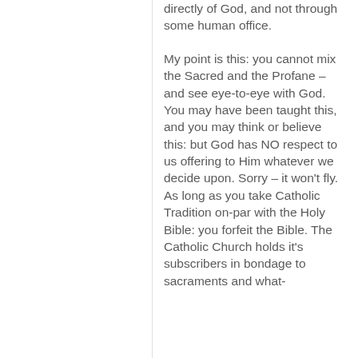directly of God, and not through some human office.

My point is this: you cannot mix the Sacred and the Profane – and see eye-to-eye with God. You may have been taught this, and you may think or believe this: but God has NO respect to us offering to Him whatever we decide upon. Sorry – it won't fly. As long as you take Catholic Tradition on-par with the Holy Bible: you forfeit the Bible. The Catholic Church holds it's subscribers in bondage to sacraments and what-